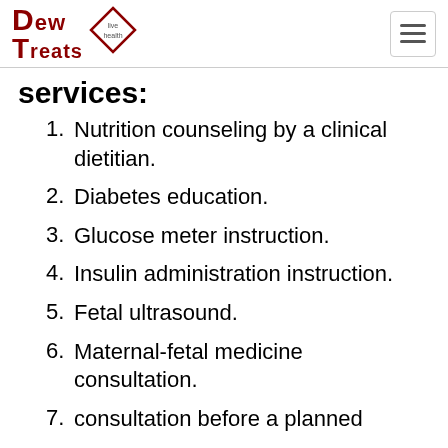[Figure (logo): Dew Treats logo with diamond shape containing 'live, health' text]
services:
1. Nutrition counseling by a clinical dietitian.
2. Diabetes education.
3. Glucose meter instruction.
4. Insulin administration instruction.
5. Fetal ultrasound.
6. Maternal-fetal medicine consultation.
7. consultation before a planned